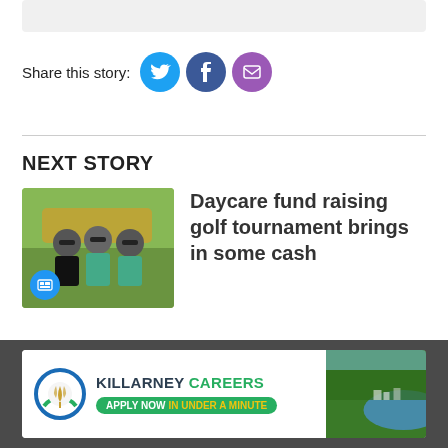[Figure (other): Gray rounded rectangle partial UI element at top]
Share this story:
[Figure (infographic): Social share icons: Twitter (blue circle), Facebook (dark blue circle), Email (purple circle)]
NEXT STORY
[Figure (photo): Three people on a golf cart, smiling, with gallery badge icon]
Daycare fund raising golf tournament brings in some cash
[Figure (other): Killarney Careers advertisement banner with logo, text and aerial landscape photo]